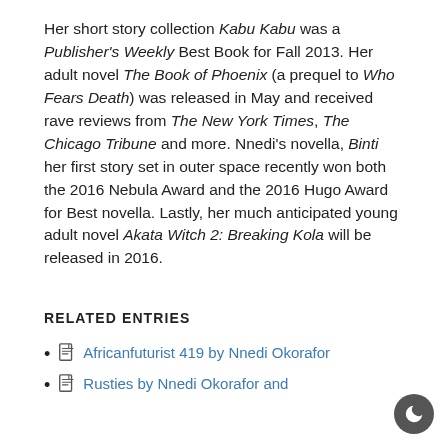Her short story collection Kabu Kabu was a Publisher's Weekly Best Book for Fall 2013. Her adult novel The Book of Phoenix (a prequel to Who Fears Death) was released in May and received rave reviews from The New York Times, The Chicago Tribune and more. Nnedi's novella, Binti her first story set in outer space recently won both the 2016 Nebula Award and the 2016 Hugo Award for Best novella. Lastly, her much anticipated young adult novel Akata Witch 2: Breaking Kola will be released in 2016.
RELATED ENTRIES
Africanfuturist 419 by Nnedi Okorafor
Rusties by Nnedi Okorafor and ...